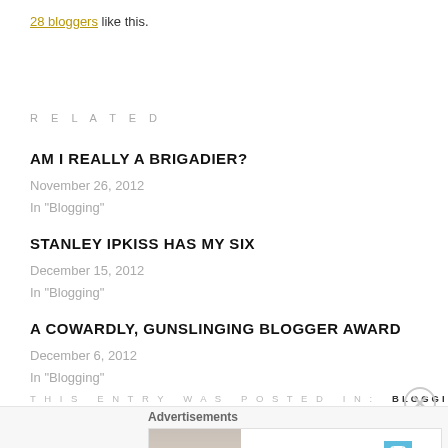28 bloggers like this.
RELATED
AM I REALLY A BRIGADIER?
November 26, 2012
In "Blogging"
STANLEY IPKISS HAS MY SIX
December 15, 2012
In "Blogging"
A COWARDLY, GUNSLINGING BLOGGER AWARD
December 6, 2012
In "Blogging"
THIS ENTRY WAS POSTED IN: BLOGGING
Advertisements
[Figure (other): Day One Journal advertisement banner with person photographing scenic view and text 'Over 150,000 5-star reviews']